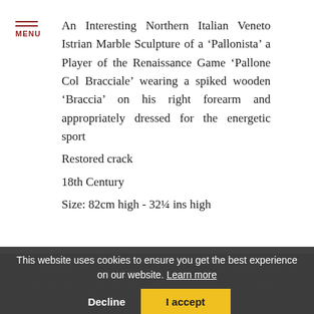MENU
An Interesting Northern Italian Veneto Istrian Marble Sculpture of a ‘Pallonista’ a Player of the Renaissance Game ‘Pallone Col Bracciale’ wearing a spiked wooden ‘Braccia’ on his right forearm and appropriately dressed for the energetic sport
Restored crack
18th Century
Size: 82cm high - 32¼ ins high
[Figure (logo): Finch & Co italic red vertical logo text]
YOU MAY ALSO LIKE
This website uses cookies to ensure you get the best experience on our website. Learn more
Decline  I accept